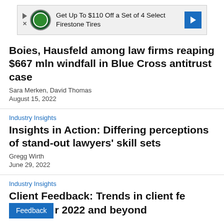[Figure (other): Advertisement banner: Get Up To $110 Off a Set of 4 Select Firestone Tires]
Boies, Hausfeld among law firms reaping $667 mln windfall in Blue Cross antitrust case
Sara Merken, David Thomas
August 15, 2022
Industry Insights
Insights in Action: Differing perceptions of stand-out lawyers' skill sets
Gregg Wirth
June 29, 2022
Industry Insights
Client Feedback: Trends in client feedback 2022 and beyond